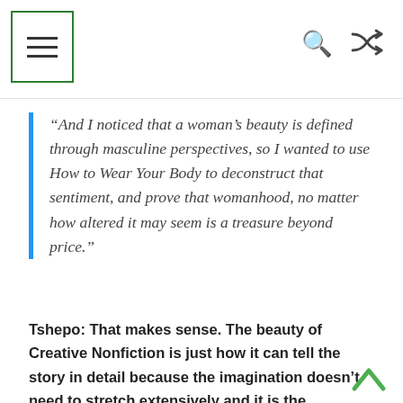“And I noticed that a woman’s beauty is defined through masculine perspectives, so I wanted to use How to Wear Your Body to deconstruct that sentiment, and prove that womanhood, no matter how altered it may seem is a treasure beyond price.”
Tshepo: That makes sense. The beauty of Creative Nonfiction is just how it can tell the story in detail because the imagination doesn’t need to stretch extensively and it is the realness of it that adds richness to a story. How long did it take for you to write the story?